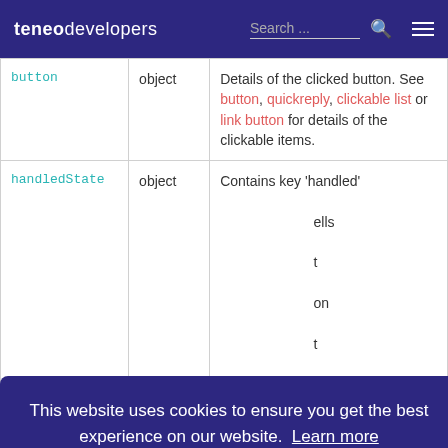teneo developers   Search ...
| Name | Type | Description |
| --- | --- | --- |
| button | object | Details of the clicked button. See button, quickreply, clickable list or link button for details of the clickable items. |
| handledState | object | Contains key 'handled' ... behaviour and the |
This website uses cookies to ensure you get the best experience on our website. Learn more   Got it!